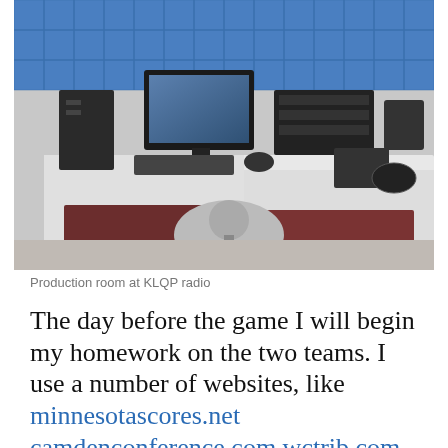[Figure (photo): A production room at KLQP radio station showing a desk with a computer monitor, keyboard, audio equipment, telephone, and office chair. The walls are lined with blue acoustic foam panels.]
Production room at KLQP radio
The day before the game I will begin my homework on the two teams. I use a number of websites, like minnesotascores.net camdenconference.com wctrib.com